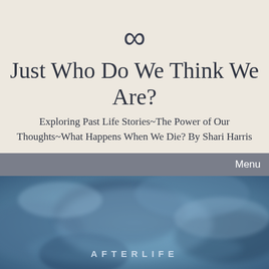[Figure (illustration): Infinity symbol (∞) in dark slate color on beige background]
Just Who Do We Think We Are?
Exploring Past Life Stories~The Power of Our Thoughts~What Happens When We Die? By Shari Harris
Menu
[Figure (photo): Swirling blue and grey cloud/smoke texture image with the word AFTERLIFE in spaced capital letters near the bottom]